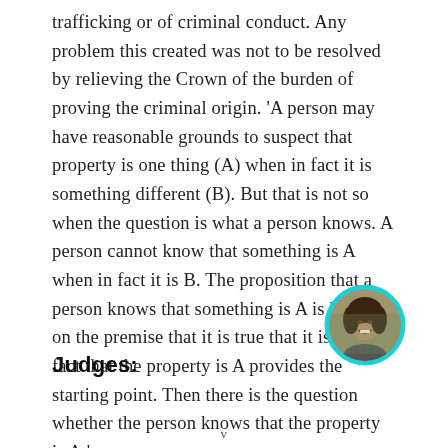trafficking or of criminal conduct. Any problem this created was not to be resolved by relieving the Crown of the burden of proving the criminal origin. 'A person may have reasonable grounds to suspect that property is one thing (A) when in fact it is something different (B). But that is not so when the question is what a person knows. A person cannot know that something is A when in fact it is B. The proposition that a person knows that something is A is based on the premise that it is true that it is A. The fact that the property is A provides the starting point. Then there is the question whether the person knows that the property is A.'
[Figure (photo): Circular portrait photo of a woman smiling, with teal/cyan border]
Judges:
v